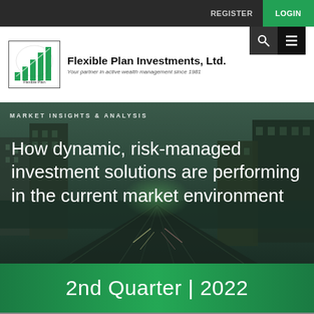REGISTER  LOGIN
[Figure (logo): Flexible Plan Investments logo with ascending green bar chart and company name]
MARKET INSIGHTS & ANALYSIS
How dynamic, risk-managed investment solutions are performing in the current market environment
2nd Quarter | 2022